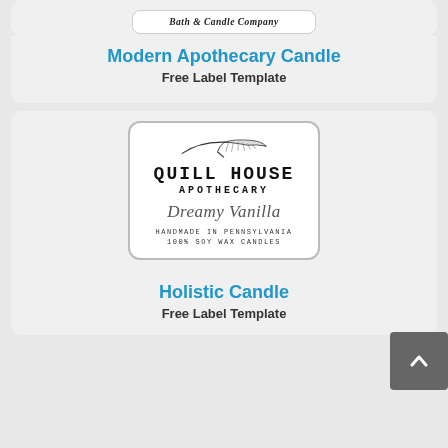[Figure (illustration): Top card with a label showing cursive brand text, partially visible at top of page]
Modern Apothecary Candle
Free Label Template
[Figure (illustration): Quill House Apothecary candle label featuring a feather illustration, bold serif text 'QUILL HOUSE APOTHECARY', cursive 'Dreamy Vanilla', and 'HANDMADE IN PENNSYLVANIA 100% SOY WAX CANDLES']
Holistic Candle
Free Label Template